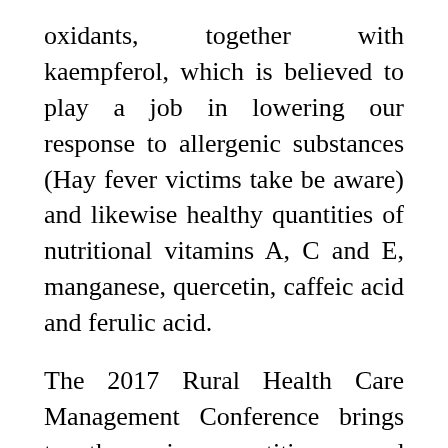oxidants, together with kaempferol, which is believed to play a job in lowering our response to allergenic substances (Hay fever victims take be aware) and likewise healthy quantities of nutritional vitamins A, C and E, manganese, quercetin, caffeic acid and ferulic acid.
The 2017 Rural Health Care Management Conference brings together prime practitioners and thinkers to share methods and assets for accelerating the shift to a extra built-in and sustainable rural health system. The Department of Health is deeply involved in regards to the rising weight problems charge in the nation and urges all South Africans to adopt